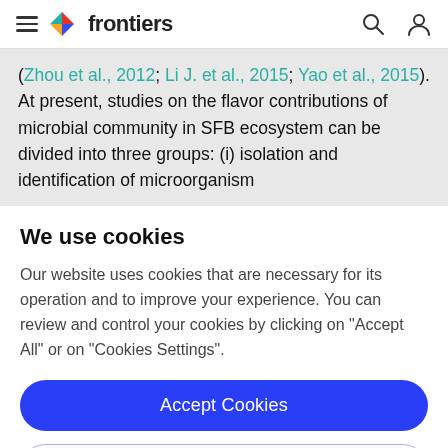frontiers (navigation bar with hamburger menu, logo, search and user icons)
(Zhou et al., 2012; Li J. et al., 2015; Yao et al., 2015). At present, studies on the flavor contributions of microbial community in SFB ecosystem can be divided into three groups: (i) isolation and identification of microorganism
We use cookies
Our website uses cookies that are necessary for its operation and to improve your experience. You can review and control your cookies by clicking on "Accept All" or on "Cookies Settings".
Accept Cookies
Cookies Settings